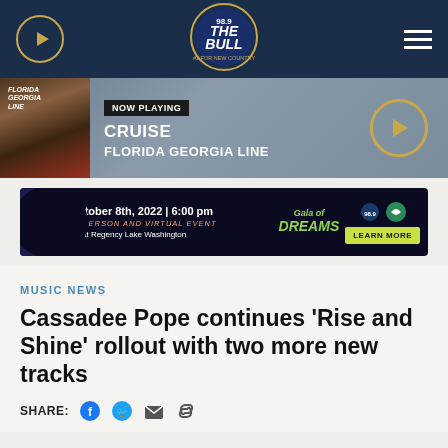[Figure (screenshot): Radio station 98.9 The Bull navigation bar with play button, logo, and hamburger menu on dark navy background]
[Figure (screenshot): Now Playing bar showing Florida Georgia Line album art, NOW PLAYING label, CRUISE song title, FLORIDA GEORGIA LINE artist name, and play button]
[Figure (screenshot): Advertisement banner for Gala of Dreams event on October 8th, 2022 at 6:00 pm, Hyatt Regency Lake Washington, with Learn More button]
MUSIC NEWS
Cassadee Pope continues 'Rise and Shine' rollout with two more new tracks
SHARE: